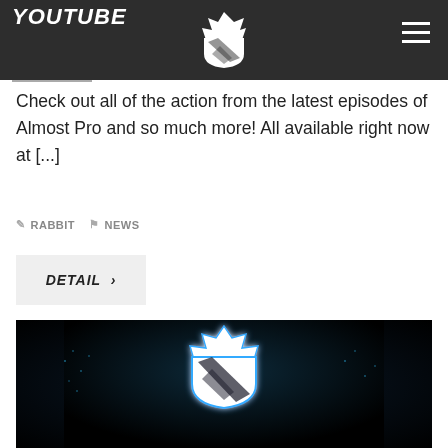YOUTUBE
Check out all of the action from the latest episodes of Almost Pro and so much more! All available right now at [...]
RABBIT   NEWS
DETAIL >
[Figure (photo): Dark background with glowing blue esports shield logo (crown and diagonal stripes) centered, with a digital city skyline in blue tones in the background]